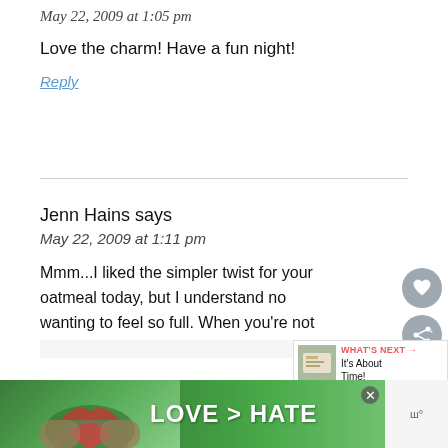May 22, 2009 at 1:05 pm
Love the charm! Have a fun night!
Reply
Jenn Hains says
May 22, 2009 at 1:11 pm
Mmm...I liked the simpler twist for your oatmeal today, but I understand no wanting to feel so full. When you're not
[Figure (infographic): Advertisement banner with LOVE > HATE text and hands forming a heart shape]
[Figure (other): What's Next promo widget with thumbnail image and text 'It's About Time!']